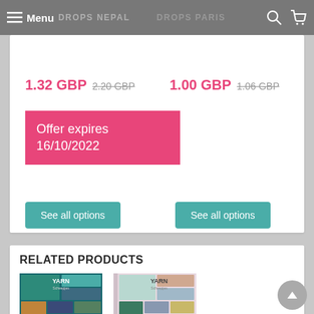Menu | DROPS NEPAL | DROPS PARIS
1.32 GBP (was 2.20 GBP) | 1.00 GBP (was 1.06 GBP)
Offer expires 16/10/2022
See all options
See all options
RELATED PRODUCTS
[Figure (photo): YARN book cover - teal/dark cover with multiple knitting fashion photos]
[Figure (photo): YARN book cover - light pink/white cover with multiple knitting fashion photos]